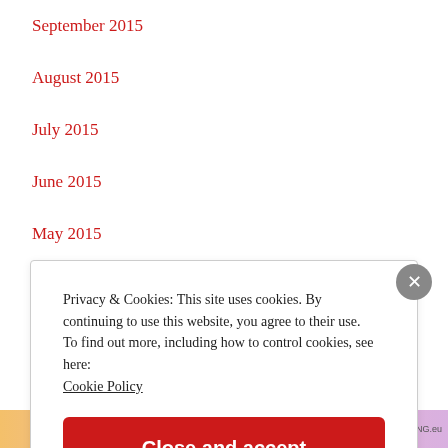September 2015
August 2015
July 2015
June 2015
May 2015
April 2015
Privacy & Cookies: This site uses cookies. By continuing to use this website, you agree to their use.
To find out more, including how to control cookies, see here:
Cookie Policy
Close and accept